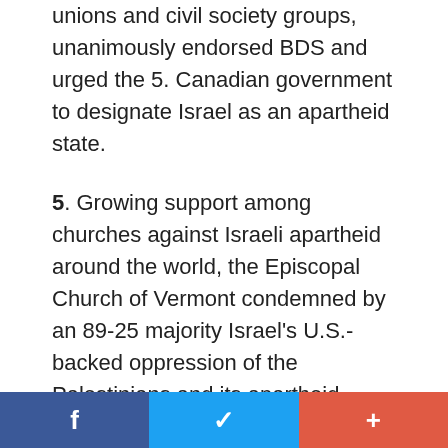unions and civil society groups, unanimously endorsed BDS and urged the 5. Canadian government to designate Israel as an apartheid state.
5. Growing support among churches against Israeli apartheid around the world, the Episcopal Church of Vermont condemned by an 89-25 majority Israel's U.S.-backed oppression of the Palestinians and its apartheid policies, and the Church of Sweden called on ecumenical organizations to investigate Israel as an apartheid state.
6. The University of Brasilia and the University of Costa Rica passed historic resolutions declaring
f    t    +